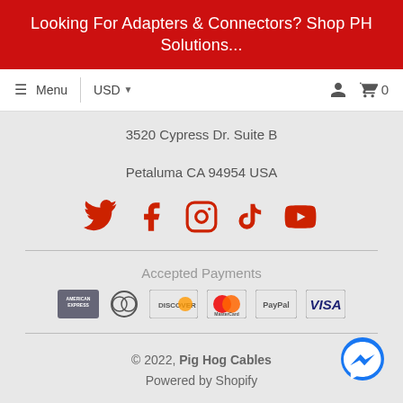Looking For Adapters & Connectors? Shop PH Solutions...
≡ Menu  USD  0
3520 Cypress Dr. Suite B
Petaluma CA 94954 USA
[Figure (other): Social media icons: Twitter, Facebook, Instagram, TikTok, YouTube in red]
Accepted Payments
[Figure (other): Payment method icons: American Express, Diners Club, Discover, MasterCard, PayPal, VISA]
© 2022, Pig Hog Cables Powered by Shopify
[Figure (other): Facebook Messenger chat bubble button (blue)]